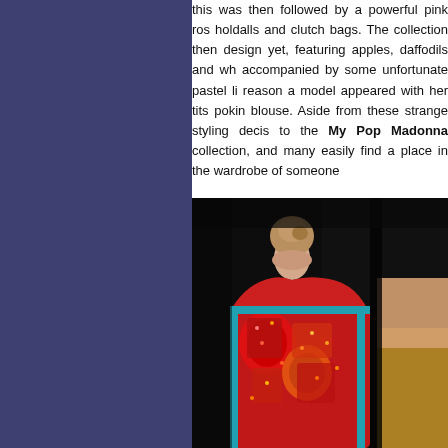this was then followed by a powerful pink ros holdalls and clutch bags. The collection then design yet, featuring apples, daffodils and wh accompanied by some unfortunate pastel li reason a model appeared with her tits pokin blouse. Aside from these strange styling decis to the My Pop Madonna collection, and many easily find a place in the wardrobe of someone
[Figure (photo): A model seen from behind wearing a colorful sequined garment with red, orange, blue and multi-colored print pattern, hair up in a bun, against a dark background. Another model partially visible on the right side.]